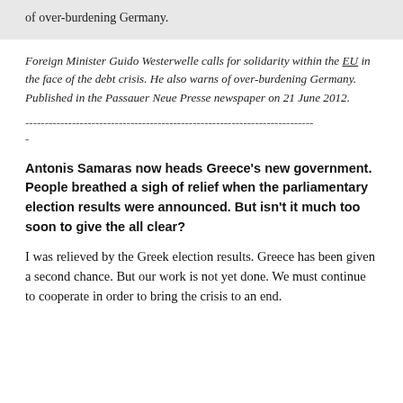of over-burdening Germany.
Foreign Minister Guido Westerwelle calls for solidarity within the EU in the face of the debt crisis. He also warns of over-burdening Germany. Published in the Passauer Neue Presse newspaper on 21 June 2012.
--------------------------------------------------------------------------
-
Antonis Samaras now heads Greece's new government. People breathed a sigh of relief when the parliamentary election results were announced. But isn't it much too soon to give the all clear?
I was relieved by the Greek election results. Greece has been given a second chance. But our work is not yet done. We must continue to cooperate in order to bring the crisis to an end.